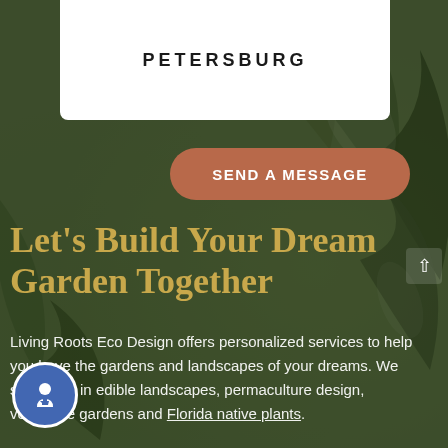PETERSBURG
SEND A MESSAGE
Let's Build Your Dream Garden Together
Living Roots Eco Design offers personalized services to help you have the gardens and landscapes of your dreams. We specialize in edible landscapes, permaculture design, vegetable gardens and Florida native plants.
[Figure (photo): Background photo of green garden foliage/leaves with dark overlay, website UI screenshot]